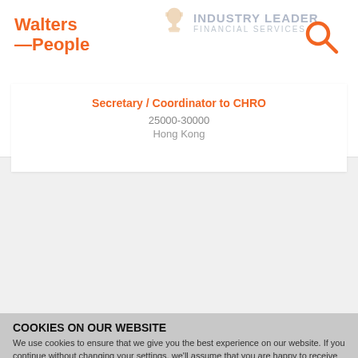[Figure (logo): Walters People logo in orange text, bold]
[Figure (logo): Industry Leader Financial Services trophy badge in grey]
[Figure (illustration): Orange search/magnifying glass icon in top right]
Secretary / Coordinator to CHRO
25000-30000
Hong Kong
COOKIES ON OUR WEBSITE
We use cookies to ensure that we give you the best experience on our website. If you continue without changing your settings, we'll assume that you are happy to receive all cookies on the Walters People website. However, if you would like to, you can change your cookie settings at any time. To find out more, please view our cookie policy.